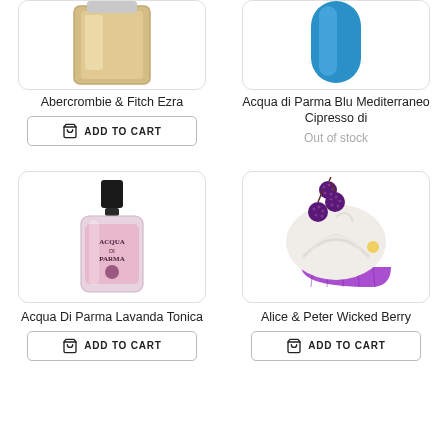[Figure (photo): Abercrombie & Fitch Ezra perfume bottle, partially cropped at top]
[Figure (photo): Acqua di Parma Blu Mediterraneo Cipresso di blue bottle, partially cropped at top]
Abercrombie & Fitch Ezra
Acqua di Parma Blu Mediterraneo Cipresso di
Out of stock
[Figure (photo): Acqua Di Parma Lavanda Tonica perfume bottle in pink/light green with black cap]
[Figure (photo): Alice & Peter Wicked Berry cupcake-shaped perfume bottle with purple base and white cream top with berry decorations]
Acqua Di Parma Lavanda Tonica
Alice & Peter Wicked Berry